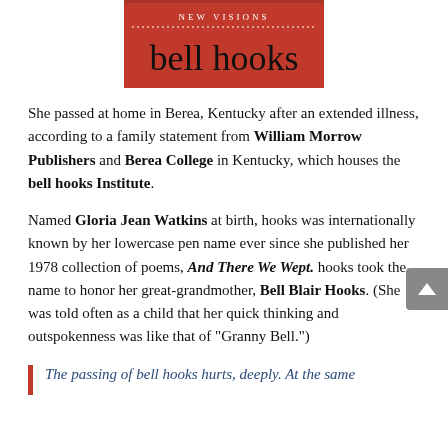[Figure (illustration): Book cover with red background showing 'NEW VISIONS' in white small caps and 'bell hooks' in large black serif text on red]
She passed at home in Berea, Kentucky after an extended illness, according to a family statement from William Morrow Publishers and Berea College in Kentucky, which houses the bell hooks Institute.
Named Gloria Jean Watkins at birth, hooks was internationally known by her lowercase pen name ever since she published her 1978 collection of poems, And There We Wept. hooks took the name to honor her great-grandmother, Bell Blair Hooks. (She was told often as a child that her quick thinking and outspokenness was like that of “Granny Bell.”)
The passing of bell hooks hurts, deeply. At the same